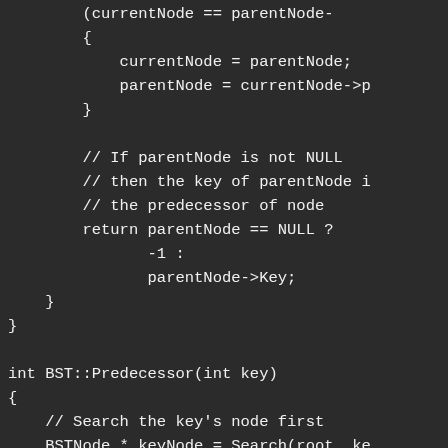(currentNode == parentNode-
        {
            currentNode = parentNode;
            parentNode = currentNode->p
        }

        // If parentNode is not NULL
        // then the key of parentNode i
        // the predecessor of node
        return parentNode == NULL ?
               -1 :
               parentNode->Key;
    }
}

int BST::Predecessor(int key)
{
    // Search the key's node first
    BSTNode * keyNode = Search(root, ke